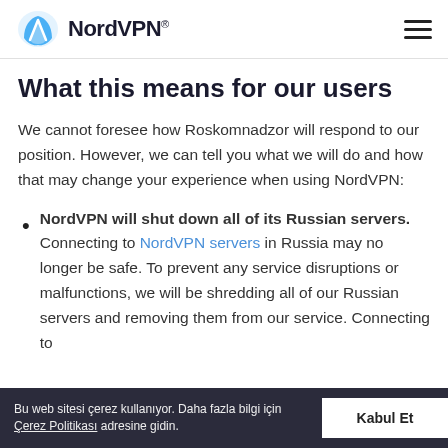NordVPN®
What this means for our users
We cannot foresee how Roskomnadzor will respond to our position. However, we can tell you what we will do and how that may change your experience when using NordVPN:
NordVPN will shut down all of its Russian servers. Connecting to NordVPN servers in Russia may no longer be safe. To prevent any service disruptions or malfunctions, we will be shredding all of our Russian servers and removing them from our service. Connecting to … impossible. The shredding process
Bu web sitesi çerez kullanıyor. Daha fazla bilgi için Çerez Politikası adresine gidin.
Kabul Et